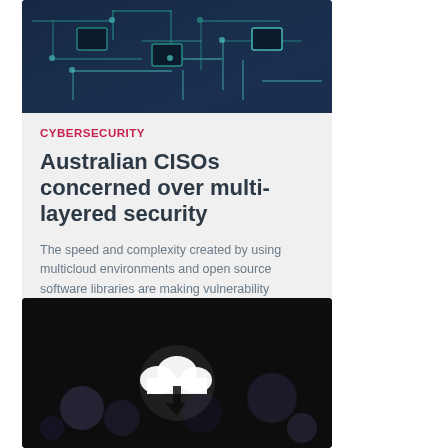[Figure (photo): Circuit board with teal/blue digital network overlay, aerial view]
CYBERSECURITY
Australian CISOs concerned over multi-layered security
The speed and complexity created by using multicloud environments and open source software libraries are making vulnerability management more difficult.
[Figure (photo): Dark background with a glowing white cloud icon with download arrow, surrounded by bokeh lights]